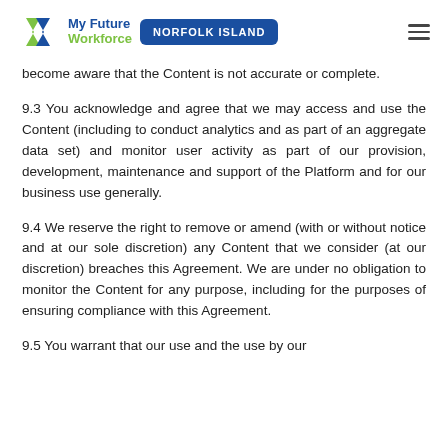My Future Workforce — NORFOLK ISLAND
become aware that the Content is not accurate or complete.
9.3 You acknowledge and agree that we may access and use the Content (including to conduct analytics and as part of an aggregate data set) and monitor user activity as part of our provision, development, maintenance and support of the Platform and for our business use generally.
9.4 We reserve the right to remove or amend (with or without notice and at our sole discretion) any Content that we consider (at our discretion) breaches this Agreement. We are under no obligation to monitor the Content for any purpose, including for the purposes of ensuring compliance with this Agreement.
9.5 You warrant that our use and the use by our